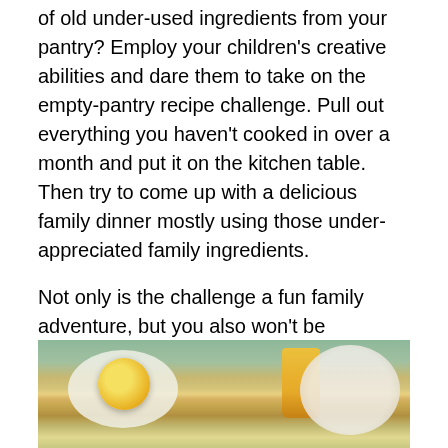of old under-used ingredients from your pantry? Employ your children's creative abilities and dare them to take on the empty-pantry recipe challenge. Pull out everything you haven't cooked in over a month and put it on the kitchen table. Then try to come up with a delicious family dinner mostly using those under-appreciated family ingredients.
Not only is the challenge a fun family adventure, but you also won't be spending a single extra dollar on a special family meal.
5. Breakfast for Dinner
[Figure (photo): Overhead photo of breakfast foods on a table including fried eggs, a glass of orange juice, and a plate with fruits and toast.]